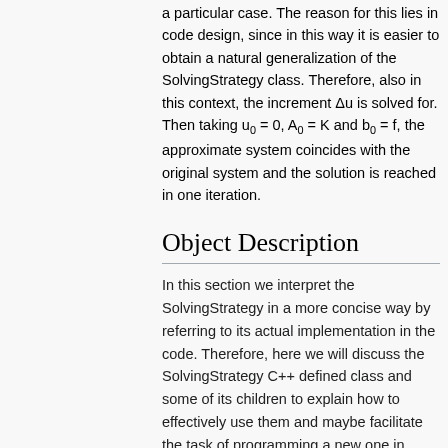a particular case. The reason for this lies in code design, since in this way it is easier to obtain a natural generalization of the SolvingStrategy class. Therefore, also in this context, the increment Δu is solved for. Then taking u₀ = 0, A₀ = K and b₀ = f, the approximate system coincides with the original system and the solution is reached in one iteration.
Object Description
In this section we interpret the SolvingStrategy in a more concise way by referring to its actual implementation in the code. Therefore, here we will discuss the SolvingStrategy C++ defined class and some of its children to explain how to effectively use them and maybe facilitate the task of programming a new one in Kratos.
The strategy pattern is designed to allow users to implement a new SolvingStrategy and add it to Kratos easily, which increases the extendibility of Kratos. It also allows them to